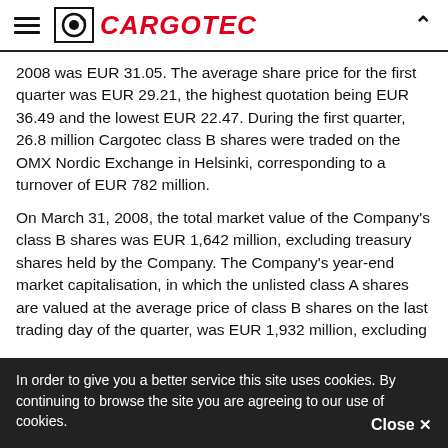CARGOTEC
2008 was EUR 31.05. The average share price for the first quarter was EUR 29.21, the highest quotation being EUR 36.49 and the lowest EUR 22.47. During the first quarter, 26.8 million Cargotec class B shares were traded on the OMX Nordic Exchange in Helsinki, corresponding to a turnover of EUR 782 million.
On March 31, 2008, the total market value of the Company's class B shares was EUR 1,642 million, excluding treasury shares held by the Company. The Company's year-end market capitalisation, in which the unlisted class A shares are valued at the average price of class B shares on the last trading day of the quarter, was EUR 1,932 million, excluding
In order to give you a better service this site uses cookies. By continuing to browse the site you are agreeing to our use of cookies. Close ×